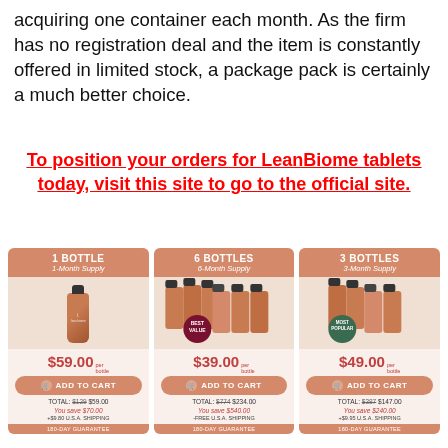acquiring one container each month. As the firm has no registration deal and the item is constantly offered in limited stock, a package pack is certainly a much better choice.
To position your orders for LeanBiome tablets today, visit this site to go to the official site.
[Figure (infographic): Three product pricing cards for LeanBiome tablets: 1 Bottle (1-Month Supply) $59.00/bottle, ADD TO CART, TOTAL: $129 $59.00, You save $70.00, +$9.80 U.S.A. SHIPPING, 180-DAY GUARANTEE; 6 Bottles (6-Month Supply) $39.00/bottle, ADD TO CART, TOTAL: $774 $234.00, You save $540.00, FREE U.S.A. SHIPPING, 180-DAY GUARANTEE (BEST VALUE badge); 3 Bottles (3-Month Supply) $49.00/bottle, ADD TO CART, TOTAL: $387 $147.00, You save $240.00, +$9.95 U.S.A. SHIPPING, 180-DAY GUARANTEE (MOST POPULAR badge)]